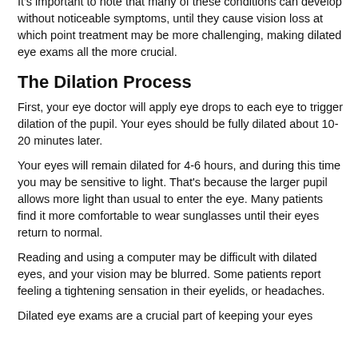It's important to note that many of these conditions can develop without noticeable symptoms, until they cause vision loss at which point treatment may be more challenging, making dilated eye exams all the more crucial.
The Dilation Process
First, your eye doctor will apply eye drops to each eye to trigger dilation of the pupil. Your eyes should be fully dilated about 10-20 minutes later.
Your eyes will remain dilated for 4-6 hours, and during this time you may be sensitive to light. That's because the larger pupil allows more light than usual to enter the eye. Many patients find it more comfortable to wear sunglasses until their eyes return to normal.
Reading and using a computer may be difficult with dilated eyes, and your vision may be blurred. Some patients report feeling a tightening sensation in their eyelids, or headaches.
Dilated eye exams are a crucial part of keeping your eyes healthy. To schedule an appointment, you can call